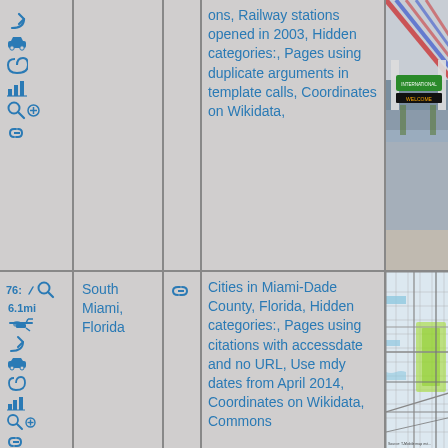Icons: turn arrow, car, spiral, bar chart, search+, link
ons, Railway stations opened in 2003, Hidden categories:, Pages using duplicate arguments in template calls, Coord-inates on Wikidata,
[Figure (photo): Photo of a railway station platform with colorful striped canopy roof, green sign reading INTERNATIONAL and electronic WELCOME display, train visible]
76: 6.1mi — icons: search, turn arrow, car, spiral, bar chart, helicopter, search+, link
South Miami, Florida
link icon
Cities in Miami-Dade County, Flori-da, Hidden categories:, Pages using citations with accessdate and no URL, Use mdy dates from April 2014, Coordinates on Wikidata, Commons
[Figure (map): Street map of South Miami area in Miami-Dade County Florida with green/yellow highlighted area showing city boundaries]